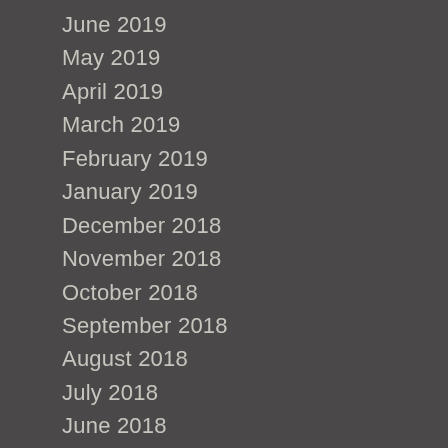June 2019
May 2019
April 2019
March 2019
February 2019
January 2019
December 2018
November 2018
October 2018
September 2018
August 2018
July 2018
June 2018
May 2018
April 2018
March 2018
February 2018
January 2018